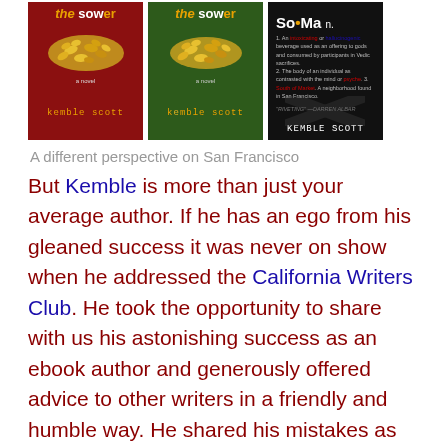[Figure (photo): Three book covers by Kemble Scott: two versions of 'The Sower' (red background and green background) and 'So·Ma' (black background)]
A different perspective on San Francisco
But Kemble is more than just your average author. If he has an ego from his gleaned success it was never on show when he addressed the California Writers Club. He took the opportunity to share with us his astonishing success as an ebook author and generously offered advice to other writers in a friendly and humble way. He shared his mistakes as well as his successes and I felt it was genuinely important to him to ensure that when someone asked a question that they got the best answer